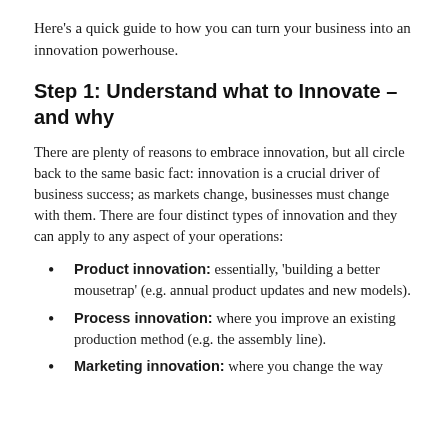Here’s a quick guide to how you can turn your business into an innovation powerhouse.
Step 1: Understand what to Innovate – and why
There are plenty of reasons to embrace innovation, but all circle back to the same basic fact: innovation is a crucial driver of business success; as markets change, businesses must change with them. There are four distinct types of innovation and they can apply to any aspect of your operations:
Product innovation: essentially, ‘building a better mousetrap’ (e.g. annual product updates and new models).
Process innovation: where you improve an existing production method (e.g. the assembly line).
Marketing innovation: where you change the way...